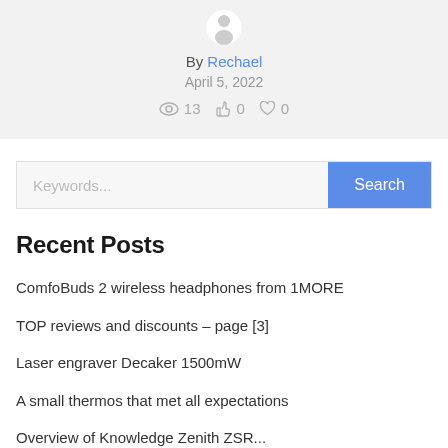[Figure (illustration): Partial view of a circular avatar/profile image at top, gray silhouette on light gray background]
By Rechael
April 5, 2022
👁 13  👍 0  ♡ 0
Keywords... [Search button]
Recent Posts
ComfoBuds 2 wireless headphones from 1MORE
TOP reviews and discounts – page [3]
Laser engraver Decaker 1500mW
A small thermos that met all expectations
Overview of Knowledge Zenith ZSR...